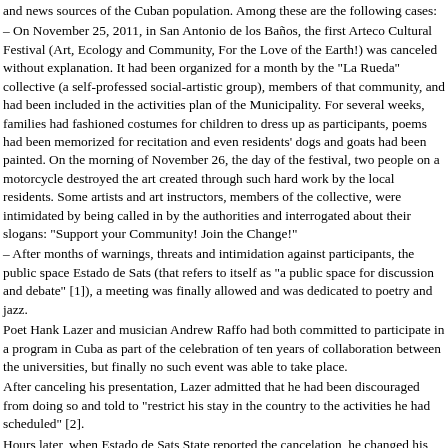and news sources of the Cuban population. Among these are the following cases: – On November 25, 2011, in San Antonio de los Baños, the first Arteco Cultural Festival (Art, Ecology and Community, For the Love of the Earth!) was canceled without explanation. It had been organized for a month by the "La Rueda" collective (a self-professed social-artistic group), members of that community, and had been included in the activities plan of the Municipality. For several weeks, families had fashioned costumes for children to dress up as participants, poems had been memorized for recitation and even residents' dogs and goats had been painted. On the morning of November 26, the day of the festival, two people on a motorcycle destroyed the art created through such hard work by the local residents. Some artists and art instructors, members of the collective, were intimidated by being called in by the authorities and interrogated about their slogans: "Support your Community! Join the Change!" – After months of warnings, threats and intimidation against participants, the public space Estado de Sats (that refers to itself as "a public space for discussion and debate" [1]), a meeting was finally allowed and was dedicated to poetry and jazz. Poet Hank Lazer and musician Andrew Raffo had both committed to participate in a program in Cuba as part of the celebration of ten years of collaboration between the universities, but finally no such event was able to take place. After canceling his presentation, Lazer admitted that he had been discouraged from doing so and told to "restrict his stay in the country to the activities he had scheduled" [2]. Hours later, when Estado de Sats State reported the cancelation, he changed his mind and attended an unexpected activity, a dinner to be held that night. A statement written by Estado de Sats says that artists living in Cuba "have toured and visited many US cities with complete freedom of movement". – The email address of Critical Observatory () was blocked in February of this year. E-mails are not received and bounced back to their senders. Likewise, the receipt of e-mail sent to Critical Observatory has been prevented and several people have complained that they cannot contact the organization. Both Estado de Sats (over the last few months) and Critical Observatory (since its founding) have faced the consequences of such attempts and acts of censorship against activism, information and debate. Considering the foregoing incidents, as well as the valuable and diverse types of activism of Cuban civil society, each working to develop a more diverse, inclusive and democratic nation and citizens, we denounce the censorship imposed by officials and the government. Are they afraid of autonomy, self-organization and the citizens' initiative? We call on all those who affirm that democracy and autonomy is in the diversity of the Cuban...